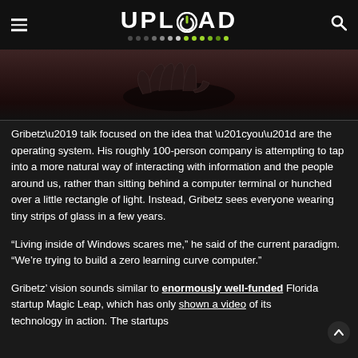UPLOAD
[Figure (photo): Cropped image showing hands against a dark background, likely from a technology demonstration video or talk.]
Gribetz’ talk focused on the idea that “you” are the operating system. His roughly 100-person company is attempting to tap into a more natural way of interacting with information and the people around us, rather than sitting behind a computer terminal or hunched over a little rectangle of light. Instead, Gribetz sees everyone wearing tiny strips of glass in a few years.
“Living inside of Windows scares me,” he said of the current paradigm. “We’re trying to build a zero learning curve computer.”
Gribetz’ vision sounds similar to enormously well-funded Florida startup Magic Leap, which has only shown a video of its technology in action. The startups